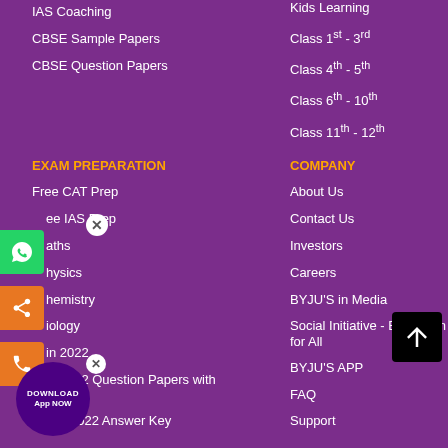IAS Coaching
CBSE Sample Papers
CBSE Question Papers
Kids Learning
Class 1st - 3rd
Class 4th - 5th
Class 6th - 10th
Class 11th - 12th
EXAM PREPARATION
COMPANY
Free CAT Prep
Free IAS Prep
Maths
Physics
Chemistry
Biology
JEE Main 2022
JEE Main 2022 Question Papers with Answers
NEET 2022 Answer Key
About Us
Contact Us
Investors
Careers
BYJU'S in Media
Social Initiative - Education for All
BYJU'S APP
FAQ
Support